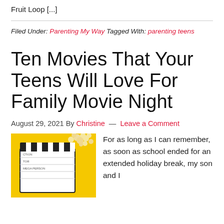Fruit Loop [...]
Filed Under: Parenting My Way Tagged With: parenting teens
Ten Movies That Your Teens Will Love For Family Movie Night
August 29, 2021 By Christine — Leave a Comment
[Figure (photo): A movie clapperboard with popcorn on a yellow background]
For as long as I can remember, as soon as school ended for an extended holiday break, my son and I